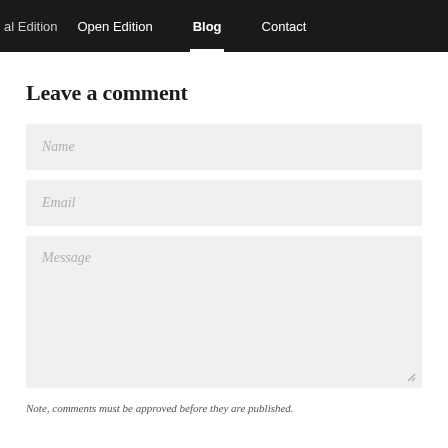al Edition   Open Edition   Blog   Contact
Leave a comment
Name
Email
Message
Note, comments must be approved before they are published.